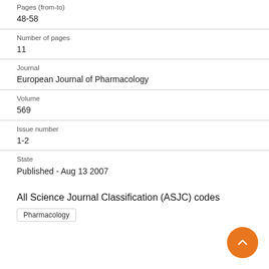Pages (from-to)
48-58
Number of pages
11
Journal
European Journal of Pharmacology
Volume
569
Issue number
1-2
State
Published - Aug 13 2007
All Science Journal Classification (ASJC) codes
Pharmacology